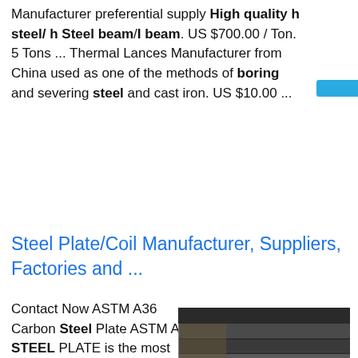Manufacturer preferential supply High quality h steel/ h Steel beam/I beam. US $700.00 / Ton. 5 Tons ... Thermal Lances Manufacturer from China used as one of the methods of boring and severing steel and cast iron. US $10.00 ...
[Figure (infographic): Blue Chinese-language button reading 在线咨询 (Online Consultation) on a cyan/blue background, positioned on the right side of the page]
Steel Plate/Coil Manufacturer, Suppliers, Factories and ...
Contact Now ASTM A36 Carbon Steel Plate ASTM A36 STEEL PLATE is the most widely used hot-rolled steel product. as a kind of carbon structural steel product, its relative products are round rod steel, angle bar, and steel sections such as i-beams, h-beams, angles, and channels. hot rolled astm a36 has rough surface...sp.info China 200X200 Hot Rolled H Steel China Hot Welded Technology
[Figure (photo): Photo of stacked steel plates/sheets showing layered metal edges, dark industrial setting]